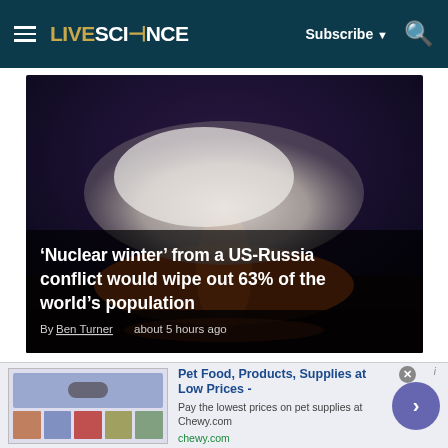LIVESCIENCE — Subscribe ▼ 🔍
[Figure (photo): Nuclear explosion mushroom cloud image with orange glow at base against dark sky, headline overlay: 'Nuclear winter' from a US-Russia conflict would wipe out 63% of the world's population. By Ben Turner about 5 hours ago]
'Nuclear winter' from a US-Russia conflict would wipe out 63% of the world's population
By Ben Turner about 5 hours ago
[Figure (photo): Second article image with jellyfish-like organisms on dark orange-brown background]
[Figure (screenshot): Advertisement: Pet Food, Products, Supplies at Low Prices - Pay the lowest prices on pet supplies at Chewy.com — chewy.com]